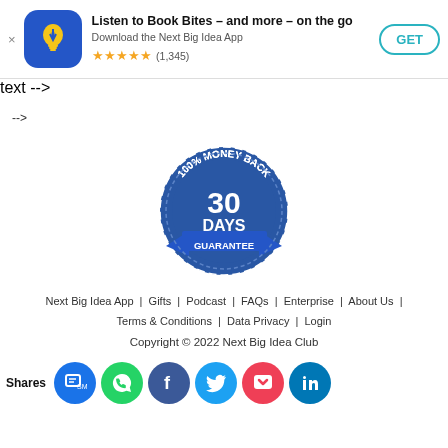[Figure (screenshot): App store banner with Next Big Idea app icon (blue background with yellow lightbulb), title 'Listen to Book Bites – and more – on the go', subtitle 'Download the Next Big Idea App', 5 star rating (1,345), and GET button]
-->
[Figure (illustration): 100% Money Back 30 Days Guarantee stamp/badge in blue]
Next Big Idea App | Gifts | Podcast | FAQs | Enterprise | About Us | Terms & Conditions | Data Privacy | Login
Copyright © 2022 Next Big Idea Club
Shares
[Figure (illustration): Row of social media share icons: SMS/phone (blue), WhatsApp (green), Facebook (dark blue), Twitter (light blue), Pocket (red), LinkedIn (blue)]